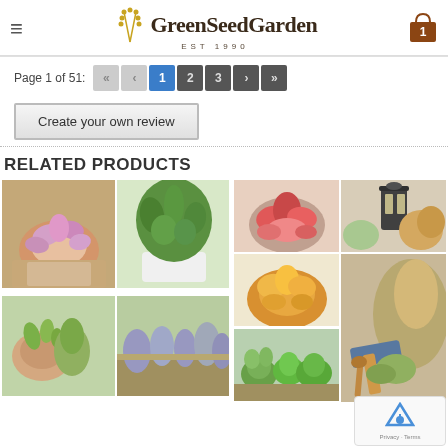GreenSeedGarden EST 1990
Page 1 of 51:
Create your own review
RELATED PRODUCTS
[Figure (photo): Grid of succulent and herb plant photos for related products]
[Figure (photo): Grid of succulent and tool/garden arrangement photos for related products]